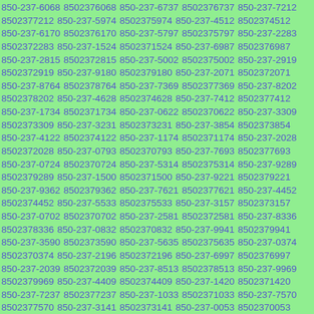850-237-6068 8502376068 850-237-6737 8502376737 850-237-7212 8502377212 850-237-5974 8502375974 850-237-4512 8502374512 850-237-6170 8502376170 850-237-5797 8502375797 850-237-2283 8502372283 850-237-1524 8502371524 850-237-6987 8502376987 850-237-2815 8502372815 850-237-5002 8502375002 850-237-2919 8502372919 850-237-9180 8502379180 850-237-2071 8502372071 850-237-8764 8502378764 850-237-7369 8502377369 850-237-8202 8502378202 850-237-4628 8502374628 850-237-7412 8502377412 850-237-1734 8502371734 850-237-0622 8502370622 850-237-3309 8502373309 850-237-3231 8502373231 850-237-3854 8502373854 850-237-4122 8502374122 850-237-1174 8502371174 850-237-2028 8502372028 850-237-0793 8502370793 850-237-7693 8502377693 850-237-0724 8502370724 850-237-5314 8502375314 850-237-9289 8502379289 850-237-1500 8502371500 850-237-9221 8502379221 850-237-9362 8502379362 850-237-7621 8502377621 850-237-4452 8502374452 850-237-5533 8502375533 850-237-3157 8502373157 850-237-0702 8502370702 850-237-2581 8502372581 850-237-8336 8502378336 850-237-0832 8502370832 850-237-9941 8502379941 850-237-3590 8502373590 850-237-5635 8502375635 850-237-0374 8502370374 850-237-2196 8502372196 850-237-6997 8502376997 850-237-2039 8502372039 850-237-8513 8502378513 850-237-9969 8502379969 850-237-4409 8502374409 850-237-1420 8502371420 850-237-7237 8502377237 850-237-1033 8502371033 850-237-7570 8502377570 850-237-3141 8502373141 850-237-0053 8502370053 850-237-8755 8502378755 850-237-4582 8502374582 850-237-7962